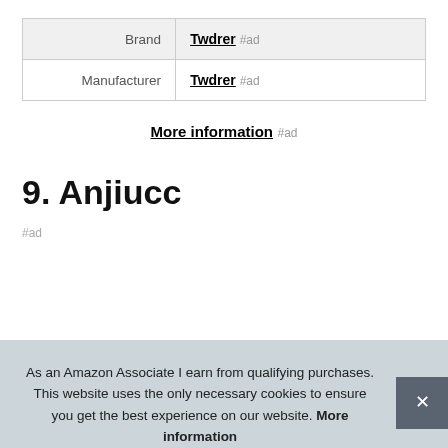| Brand | Twdrer #ad |
| Manufacturer | Twdrer #ad |
More information #ad
9. Anjiucc
#ad
As an Amazon Associate I earn from qualifying purchases. This website uses the only necessary cookies to ensure you get the best experience on our website. More information